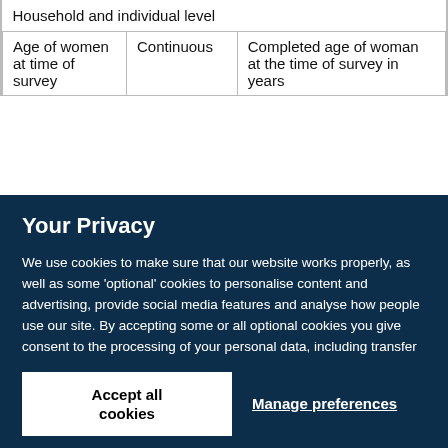| Household and individual level |  |  |
| Age of women at time of survey | Continuous | Completed age of woman at the time of survey in years |
Your Privacy
We use cookies to make sure that our website works properly, as well as some 'optional' cookies to personalise content and advertising, provide social media features and analyse how people use our site. By accepting some or all optional cookies you give consent to the processing of your personal data, including transfer to third parties, some in countries outside of the European Economic Area that do not offer the same data protection standards as the country where you live. You can decide which optional cookies to accept by clicking on 'Manage Settings', where you can also find more information about how your personal data is processed. Further information can be found in our privacy policy.
Accept all cookies
Manage preferences